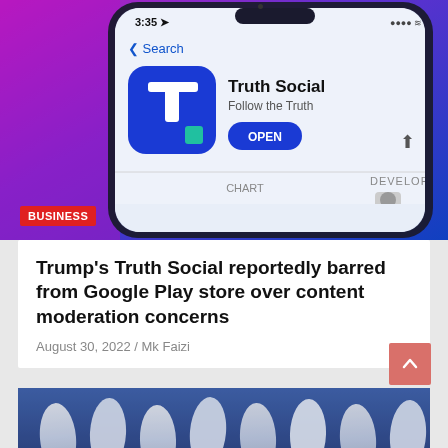[Figure (photo): Smartphone showing the Truth Social app on the Apple App Store. The screen shows '3:35' time, a Search back button, Truth Social app icon (blue square with white T logo and teal square), the app name 'Truth Social', tagline 'Follow the Truth', and an OPEN button. CHART and DEVELOPER tabs visible at the bottom of the screen. Phone has a dark frame against a colorful purple/magenta background.]
BUSINESS
Trump's Truth Social reportedly barred from Google Play store over content moderation concerns
August 30, 2022 / Mk Faizi
[Figure (photo): Close-up photo of white pills or capsules, slightly blurred, arranged in rows.]